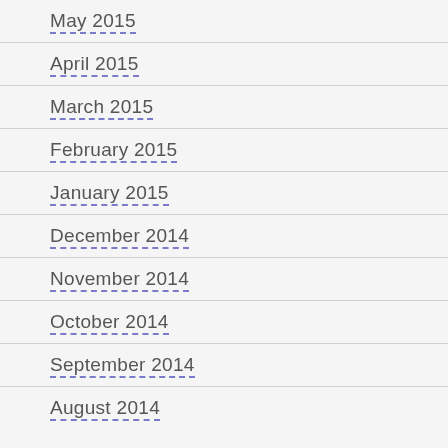May 2015
April 2015
March 2015
February 2015
January 2015
December 2014
November 2014
October 2014
September 2014
August 2014